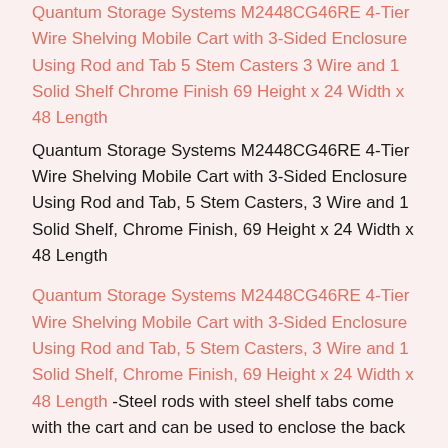Quantum Storage Systems M2448CG46RE 4-Tier Wire Shelving Mobile Cart with 3-Sided Enclosure Using Rod and Tab 5 Stem Casters 3 Wire and 1 Solid Shelf Chrome Finish 69 Height x 24 Width x 48 Length
Quantum Storage Systems M2448CG46RE 4-Tier Wire Shelving Mobile Cart with 3-Sided Enclosure Using Rod and Tab, 5 Stem Casters, 3 Wire and 1 Solid Shelf, Chrome Finish, 69 Height x 24 Width x 48 Length
Quantum Storage Systems M2448CG46RE 4-Tier Wire Shelving Mobile Cart with 3-Sided Enclosure Using Rod and Tab, 5 Stem Casters, 3 Wire and 1 Solid Shelf, Chrome Finish, 69 Height x 24 Width x 48 Length -Steel rods with steel shelf tabs come with the cart and can be used to enclose the back and sides to help prevent items from falling off. Has an 800 lb per shelf capacity when evenly